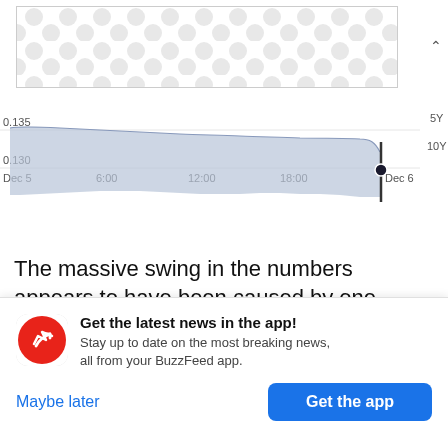[Figure (illustration): Banner image with decorative dot/circle pattern in light gray on white background]
[Figure (area-chart): Area chart showing price range from 0.130 to 0.135 between Dec 5 and Dec 6, with time labels 6:00, 12:00, 18:00. Right axis shows 5Y and 10Y labels. Price line shows slight decline with a sharp drop at the end near Dec 6. Area fill is blue-gray.]
The massive swing in the numbers appears to have been caused by one London-based broker, ICAP,
[Figure (infographic): BuzzFeed app notification card with red circular icon containing white arrow logo, headline 'Get the latest news in the app!', subtext 'Stay up to date on the most breaking news, all from your BuzzFeed app.', and two buttons: 'Maybe later' (blue text) and 'Get the app' (blue button)]